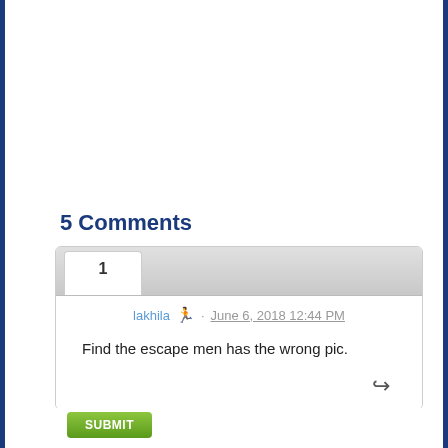5 Comments
1
lakhila · June 6, 2018 12:44 PM
Find the escape men has the wrong pic.